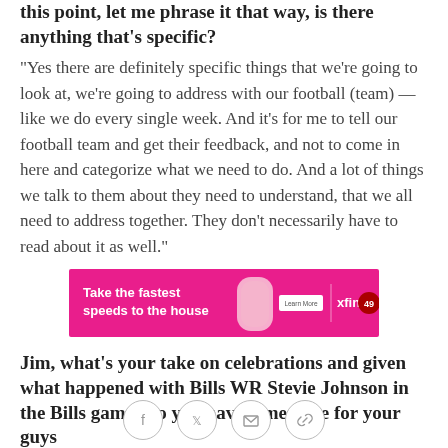this point, let me phrase it that way, is there anything that's specific?
"Yes there are definitely specific things that we're going to look at, we're going to address with our football (team) —like we do every single week. And it's for me to tell our football team and get their feedback, and not to come in here and categorize what we need to do. And a lot of things we talk to them about they need to understand, that we all need to address together. They don't necessarily have to read about it as well."
[Figure (other): Xfinity advertisement banner: pink/magenta background, text 'Take the fastest speeds to the house', white router device image, Learn More button, xfinity logo with 49ers circle logo]
Jim, what's your take on celebrations and given what happened with Bills WR Stevie Johnson in the Bills game, Do you have a message for your guys